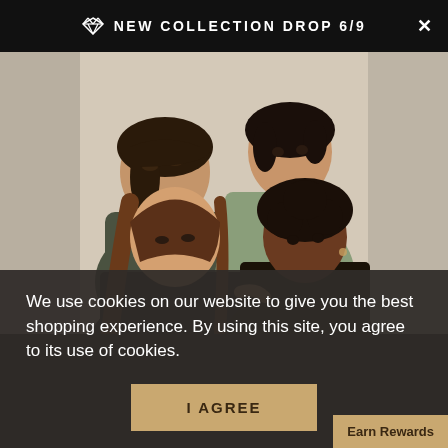NEW COLLECTION DROP 6/9
[Figure (photo): Four women posing together against a light beige/cream background. Two women in back row: one wearing an olive/army green jacket leaning back, another in a sage green shirt with short dark hair. Two women in front row: one with long brown hair looking down, one with short natural black hair wearing dark clothing.]
We use cookies on our website to give you the best shopping experience. By using this site, you agree to its use of cookies.
I AGREE
Earn Rewards